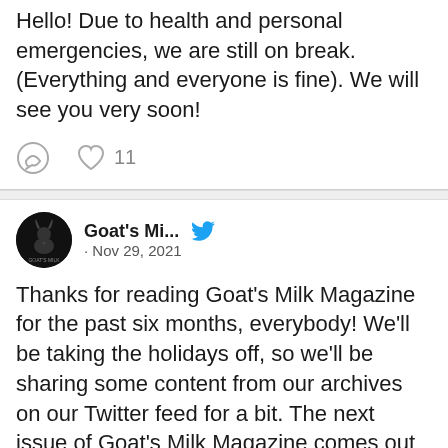Hello! Due to health and personal emergencies, we are still on break. (Everything and everyone is fine). We will see you very soon!
[Figure (screenshot): Tweet action icons: comment bubble and heart with count 11]
[Figure (screenshot): Goat's Milk Magazine Twitter profile avatar - black circle with goat illustration]
Goat's Mi... · Nov 29, 2021
Thanks for reading Goat's Milk Magazine for the past six months, everybody! We'll be taking the holidays off, so we'll be sharing some content from our archives on our Twitter feed for a bit. The next issue of Goat's Milk Magazine comes out Feb. 01! See